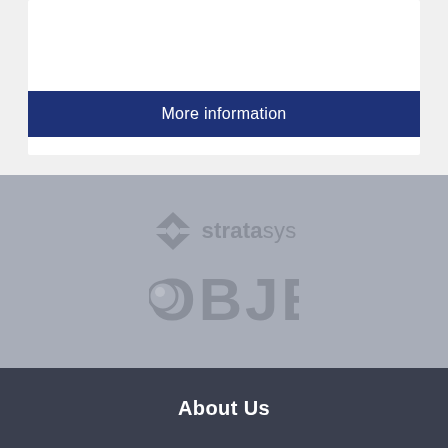More information
[Figure (logo): Stratasys logo with angular arrow icon and text 'stratasys' where 'strata' is bold and 'sys' is lighter weight]
[Figure (logo): Objet logo with circular 'O' containing a sphere highlight and text 'BJET']
About Us